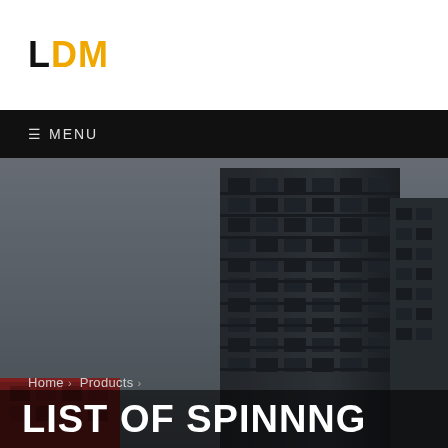LDM
☰ MENU
[Figure (photo): Low-angle photograph of a tall dark modern multi-storey building against a grey overcast sky, with a red-accented building partially visible at the lower left.]
Home > Products >
LIST OF SPINNNG